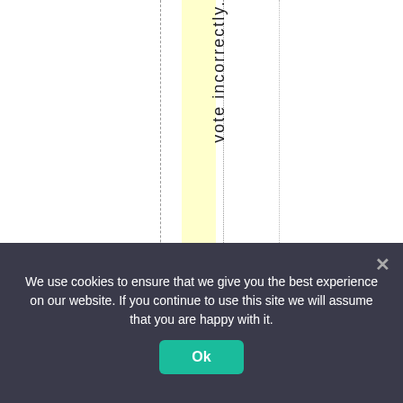[Figure (screenshot): Vertical rotated text reading 'vote incorrectly.' displayed in a column layout with a yellow highlighted vertical column, dashed and dotted grid lines, and vote buttons showing thumbs up 17 and thumbs down 0.]
17
0
We use cookies to ensure that we give you the best experience on our website. If you continue to use this site we will assume that you are happy with it.
Ok